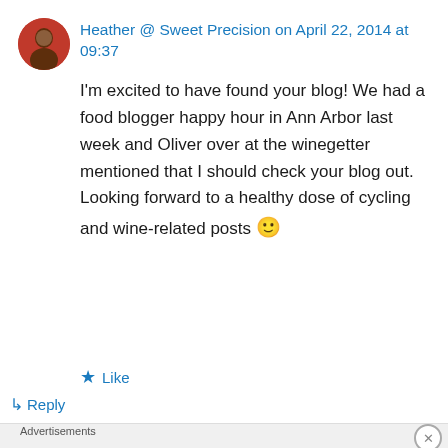Heather @ Sweet Precision on April 22, 2014 at 09:37
I'm excited to have found your blog! We had a food blogger happy hour in Ann Arbor last week and Oliver over at the winegetter mentioned that I should check your blog out. Looking forward to a healthy dose of cycling and wine-related posts 🙂
Like
Reply
Advertisements
[Figure (other): Bloomingdales advertisement banner with logo, 'View Today's Top Deals!', image of woman with hat, and SHOP NOW button]